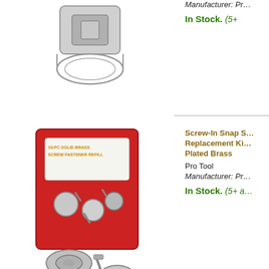[Figure (photo): Partially visible product image of a cable or wire accessory]
Manufacturer: ...
In Stock. (5+
[Figure (photo): Screw-In Snap S... Replacement Kit with Plated Brass components shown in packaging with loose hardware pieces]
Screw-In Snap S... Replacement Ki... Plated Brass
Pro Tool
Manufacturer: Pr...
In Stock. (5+ a...
[Figure (photo): Sea Dog 5010 electric oil change pump device with white tubing and red wires]
Sea Dog 5010... CHANGE PU... ELECTRICA... ELECTRIC O... PUMP
Sea Dog Line
Manufacturer: ...